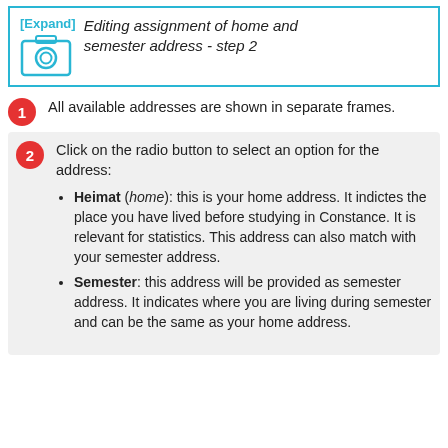[Figure (screenshot): Expand link and camera icon for editing assignment of home and semester address - step 2]
Editing assignment of home and semester address - step 2
1. All available addresses are shown in separate frames.
2. Click on the radio button to select an option for the address:
Heimat (home): this is your home address. It indictes the place you have lived before studying in Constance. It is relevant for statistics. This address can also match with your semester address.
Semester: this address will be provided as semester address. It indicates where you are living during semester and can be the same as your home address.